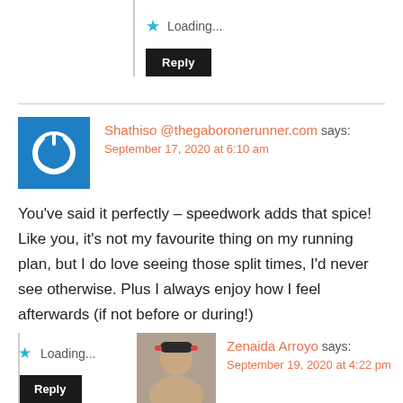Loading...
Reply
Shathiso @thegaboronerunner.com says: September 17, 2020 at 6:10 am
You've said it perfectly – speedwork adds that spice! Like you, it's not my favourite thing on my running plan, but I do love seeing those split times, I'd never see otherwise. Plus I always enjoy how I feel afterwards (if not before or during!)
Loading...
Reply
Zenaida Arroyo says: September 19, 2020 at 4:22 pm